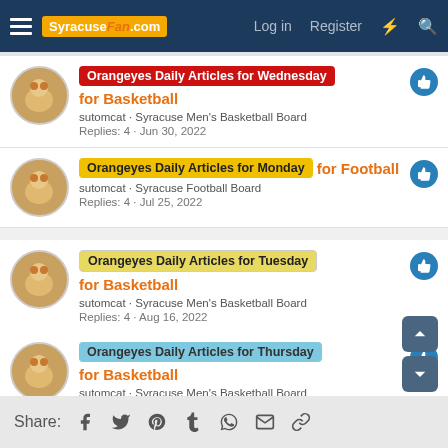SyracuseFan.com — Log in | Register
Orangeyes Daily Articles for Wednesday for Basketball — sutomcat · Syracuse Men's Basketball Board — Replies: 4 · Jun 30, 2022
Orangeyes Daily Articles for Monday for Football — sutomcat · Syracuse Football Board — Replies: 4 · Jul 25, 2022
Orangeyes Daily Articles for Tuesday for Basketball — sutomcat · Syracuse Men's Basketball Board — Replies: 4 · Aug 16, 2022
Orangeyes Daily Articles for Thursday for Basketball — sutomcat · Syracuse Men's Basketball Board — Replies: 2 · May 26, 2022
Share: